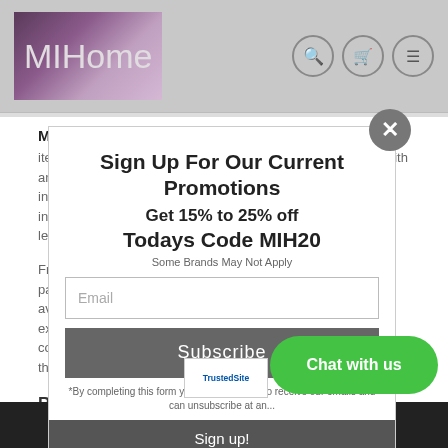[Figure (logo): MIHome logo with purple/mauve gradient background and light grey text]
Most Items will ship out in 2 to 7 days for in stock items. If an item is back ordered you will be contacted by us with an estimated shipping date. Please email us at info@matthewzahome.com for the most current stock information items may be back ordered due to long shipping lead times.
Free Shipping on most items (noted/marked on each product page and some brands may not apply), free inside delivery available on larger items by request. Some items may be excluded. Email us with any inside delivery questions or concerns. Note! inside delivery will add about 3 to 5 weeks to the shipping time line.
Returns and Exchanges
Is your item damaged or missing parts?
[Figure (screenshot): Email signup modal popup overlay with title 'Sign Up For Our Current Promotions', subtitle 'Get 15% to 25% off', code 'Todays Code MIH20', note 'Some Brands May Not Apply', email input field, Subscribe button, disclaimer text, and Sign up! button at bottom]
Chat with us